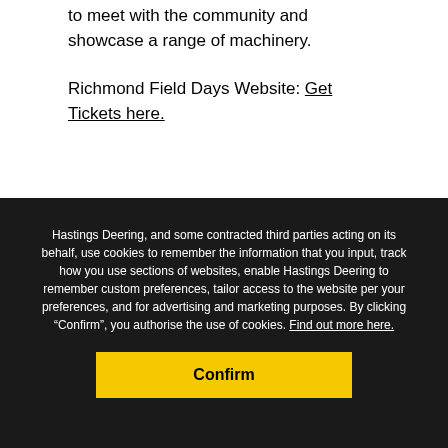to meet with the community and showcase a range of machinery.
Richmond Field Days Website: Get Tickets here.
Hastings Deering, and some contracted third parties acting on its behalf, use cookies to remember the information that you input, track how you use sections of websites, enable Hastings Deering to remember custom preferences, tailor access to the website per your preferences, and for advertising and marketing purposes. By clicking “Confirm”, you authorise the use of cookies. Find out more here.
Confirm